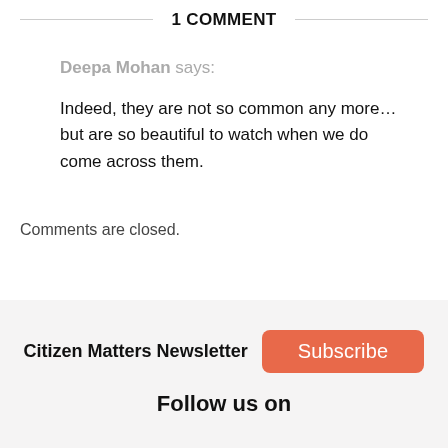1 COMMENT
Deepa Mohan says:
Indeed, they are not so common any more…but are so beautiful to watch when we do come across them.
Comments are closed.
Citizen Matters Newsletter  Subscribe
Follow us on